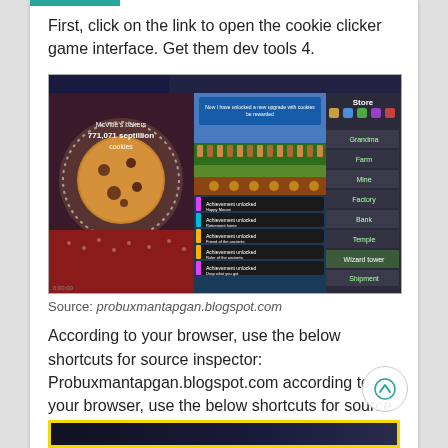First, click on the link to open the cookie clicker game interface. Get them dev tools 4.
[Figure (screenshot): Screenshot of the Cookie Clicker game interface showing a large cookie on the left, the main game area in the center with achievement popups, and the building/upgrade menu on the right including Grandma, Farm, Mine, Factory, Bank, Temple, Wizard tower, Shipment options.]
Source: probuxmantapgan.blogspot.com
According to your browser, use the below shortcuts for source inspector: Probuxmantapgan.blogspot.com according to your browser, use the below shortcuts for source inspector:
[Figure (screenshot): Partial screenshot at bottom of page with yellow border, dark background content visible.]